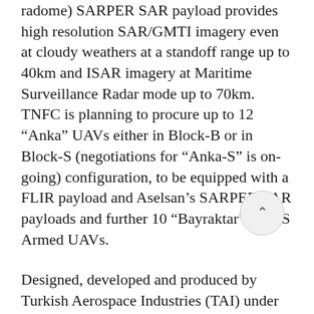radome) SARPER SAR payload provides high resolution SAR/GMTI imagery even at cloudy weathers at a standoff range up to 40km and ISAR imagery at Maritime Surveillance Radar mode up to 70km. TNFC is planning to procure up to 12 "Anka" UAVs either in Block-B or in Block-S (negotiations for "Anka-S" is on-going) configuration, to be equipped with a FLIR payload and Aselsan's SARPER SAR payloads and further 10 "Bayraktar" TB2-S Armed UAVs.
Designed, developed and produced by Turkish Aerospace Industries (TAI) under the Turkish UAV Development (TIHA/TUAV) Project, the "Anka" is a combat proven Medium Altitude Long Endurance (MALE) Class, UAV System. The "Anka" Block-B, upgraded and lightened version of Block-A aircraft, is 160kg lighter than the first "Anka" prototype and 100kg lighter than the "Anka" Block-A aircraft. Having a service ceiling of 30,000ft the "Anka" Block-B UAV